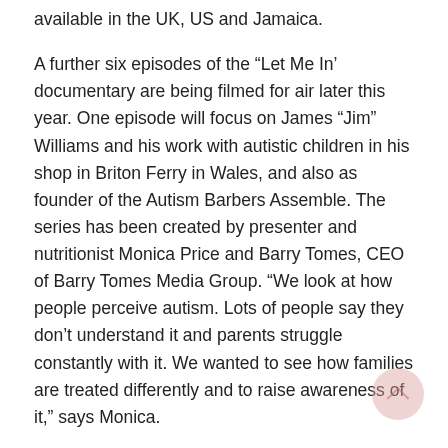available in the UK, US and Jamaica.
A further six episodes of the “Let Me In’ documentary are being filmed for air later this year. One episode will focus on James “Jim” Williams and his work with autistic children in his shop in Briton Ferry in Wales, and also as founder of the Autism Barbers Assemble. The series has been created by presenter and nutritionist Monica Price and Barry Tomes, CEO of Barry Tomes Media Group. “We look at how people perceive autism. Lots of people say they don’t understand it and parents struggle constantly with it. We wanted to see how families are treated differently and to raise awareness of it,” says Monica.
The UK documentary will be sponsored by MR. Barbers, with further sponsors being sought to potentially allow James to travel to the US and get his message out via media sources such as Fox News. Ex-Boyzone singer Keith Duffy